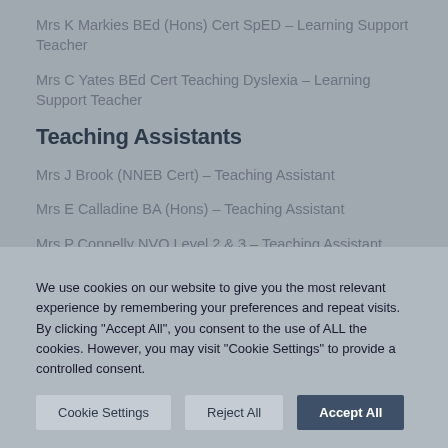Mrs K Markies BEd (Hons) Cert SpED – Learning Support Teacher
Mrs C Yates BEd Cert Teaching Dyslexia – Learning Support Teacher
Teaching Assistants
Mrs J Brook (NNEB Cert) – Teaching Assistant
Mrs E Calladine BA (Hons) – Teaching Assistant
Mrs P Connelly NVQ Level 2 & 3 – Teaching Assistant
We use cookies on our website to give you the most relevant experience by remembering your preferences and repeat visits. By clicking "Accept All", you consent to the use of ALL the cookies. However, you may visit "Cookie Settings" to provide a controlled consent.